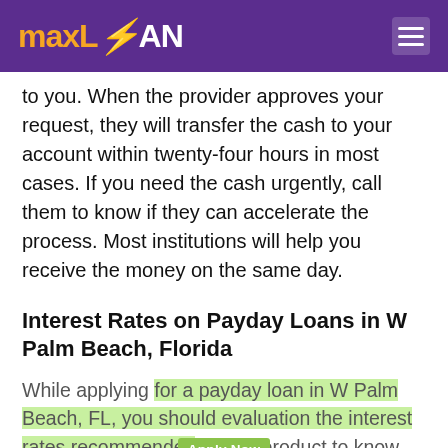maxLOAN
to you. When the provider approves your request, they will transfer the cash to your account within twenty-four hours in most cases. If you need the cash urgently, call them to know if they can accelerate the process. Most institutions will help you receive the money on the same day.
Interest Rates on Payday Loans in W Palm Beach, Florida
While applying for a payday loan in W Palm Beach, FL, you should evaluation the interest rates recommended for the product to know how much youll are obligated to pay at the end of the 30 days. On average, payday loans on the web charge a month-to-month interest of